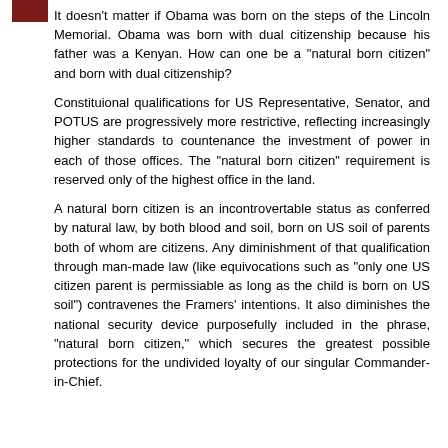[Figure (other): Small dark red/maroon colored image or icon in the top-left corner]
It doesn't matter if Obama was born on the steps of the Lincoln Memorial. Obama was born with dual citizenship because his father was a Kenyan. How can one be a "natural born citizen" and born with dual citizenship?
Constituional qualifications for US Representative, Senator, and POTUS are progressively more restrictive, reflecting increasingly higher standards to countenance the investment of power in each of those offices. The "natural born citizen" requirement is reserved only of the highest office in the land.
A natural born citizen is an incontrovertable status as conferred by natural law, by both blood and soil, born on US soil of parents both of whom are citizens. Any diminishment of that qualification through man-made law (like equivocations such as "only one US citizen parent is permissiable as long as the child is born on US soil") contravenes the Framers' intentions. It also diminishes the national security device purposefully included in the phrase, "natural born citizen," which secures the greatest possible protections for the undivided loyalty of our singular Commander-in-Chief.